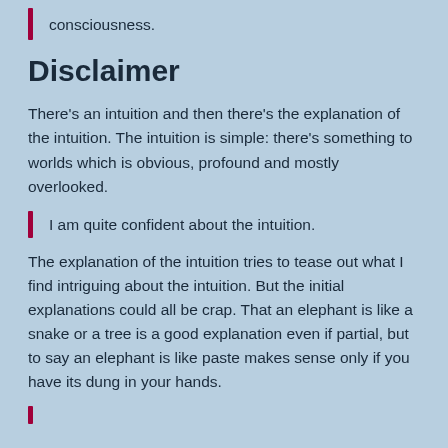consciousness.
Disclaimer
There's an intuition and then there's the explanation of the intuition. The intuition is simple: there's something to worlds which is obvious, profound and mostly overlooked.
I am quite confident about the intuition.
The explanation of the intuition tries to tease out what I find intriguing about the intuition. But the initial explanations could all be crap. That an elephant is like a snake or a tree is a good explanation even if partial, but to say an elephant is like paste makes sense only if you have its dung in your hands.